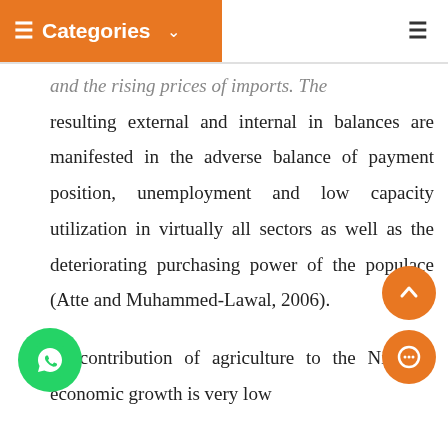Categories
and the rising prices of imports. The resulting external and internal in balances are manifested in the adverse balance of payment position, unemployment and low capacity utilization in virtually all sectors as well as the deteriorating purchasing power of the populace (Atte and Muhammed-Lawal, 2006).
The contribution of agriculture to the Nigerian economic growth is very low